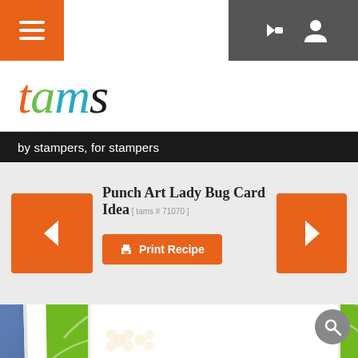tams — by stampers, for stampers
tams
by stampers, for stampers
Punch Art Lady Bug Card Idea [ tams # 71070 ]
Print Recipe
[Figure (photo): Close-up photo of a handmade card with green leaf-patterned background and white card layers, on a blue denim background]